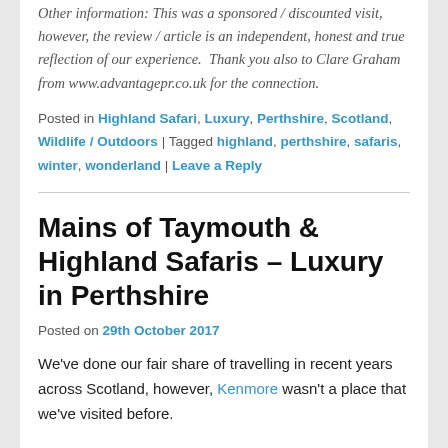Other information: This was a sponsored / discounted visit, however, the review / article is an independent, honest and true reflection of our experience.  Thank you also to Clare Graham from www.advantagepr.co.uk for the connection.
Posted in Highland Safari, Luxury, Perthshire, Scotland, Wildlife / Outdoors | Tagged highland, perthshire, safaris, winter, wonderland | Leave a Reply
Mains of Taymouth & Highland Safaris – Luxury in Perthshire
Posted on 29th October 2017
We've done our fair share of travelling in recent years across Scotland, however, Kenmore wasn't a place that we've visited before.